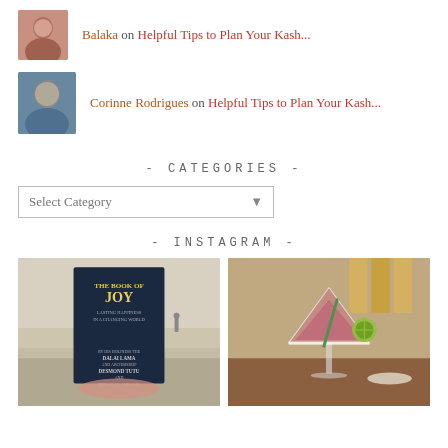[Figure (photo): Avatar photo of Balaka]
Balaka on Helpful Tips to Plan Your Kash...
[Figure (photo): Avatar photo of Corinne Rodrigues]
Corinne Rodrigues on Helpful Tips to Plan Your Kash...
- CATEGORIES -
Select Category
- INSTAGRAM -
[Figure (photo): Instagram photo of The Book of Joy held on a beach]
[Figure (photo): Instagram photo of a pink martini cocktail with lime garnish]